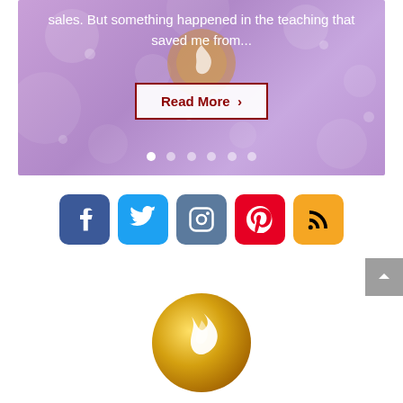[Figure (screenshot): Hero banner with purple bokeh background, white text reading 'sales. But something happened in the teaching that saved me from...' and a 'Read More >' button with dark red border, plus slider dots at the bottom.]
[Figure (infographic): Row of five social media icon buttons: Facebook (blue), Twitter (light blue), Instagram (slate blue), Pinterest (red), RSS feed (orange).]
[Figure (logo): Circular gold logo with white flame/swirl icon inside.]